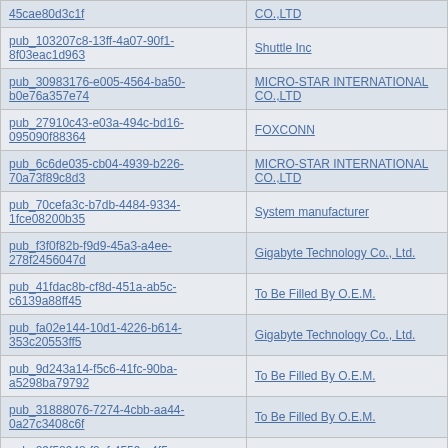| Publisher ID | Manufacturer |
| --- | --- |
| 45cae80d3c1f | CO.,LTD |
| pub_103207c8-13ff-4a07-90f1-8f03eac1d963 | Shuttle Inc |
| pub_30983176-e005-4564-ba50-b0e76a357e74 | MICRO-STAR INTERNATIONAL CO.,LTD |
| pub_27910c43-e03a-494c-bd16-095090f88364 | FOXCONN |
| pub_6c6de035-cb04-4939-b226-70a73f89c8d3 | MICRO-STAR INTERNATIONAL CO.,LTD |
| pub_70cefa3c-b7db-4484-9334-1fce08200b35 | System manufacturer |
| pub_f3f0f82b-f9d9-45a3-a4ee-278f2456047d | Gigabyte Technology Co., Ltd. |
| pub_41fdac8b-cf8d-451a-ab5c-c6139a88ff45 | To Be Filled By O.E.M. |
| pub_fa02e144-10d1-4226-b614-353c20553ff5 | Gigabyte Technology Co., Ltd. |
| pub_9d243a14-f5c6-41fc-90ba-a5298ba79792 | To Be Filled By O.E.M. |
| pub_31888076-7274-4cbb-aa44-0a27c3408c6f | To Be Filled By O.E.M. |
| pub_09f58948-f2ef-4559-a4f5-355cba3fcd3d | To Be Filled By O.E.M. |
| pub_e750bb1e-2056-4c08-bb8c-862145386b74 | To Be Filled By O.E.M. |
| pub_63dd5c0f-a2be-44c1-9824-1bf8584d8afc | Hewlett-Packard |
| pub_db9336e1-c119-4be7-aac4- | Gigabyte Technology Co., Ltd. |